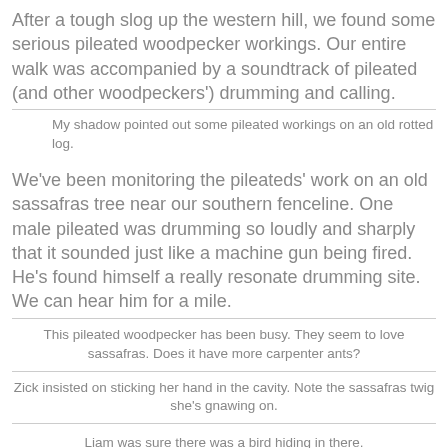After a tough slog up the western hill, we found some serious pileated woodpecker workings. Our entire walk was accompanied by a soundtrack of pileated (and other woodpeckers') drumming and calling.
My shadow pointed out some pileated workings on an old rotted log.
We've been monitoring the pileateds' work on an old sassafras tree near our southern fenceline. One male pileated was drumming so loudly and sharply that it sounded just like a machine gun being fired. He's found himself a really resonate drumming site. We can hear him for a mile.
This pileated woodpecker has been busy. They seem to love sassafras. Does it have more carpenter ants?
Zick insisted on sticking her hand in the cavity. Note the sassafras twig she's gnawing on.
Liam was sure there was a bird hiding in there.